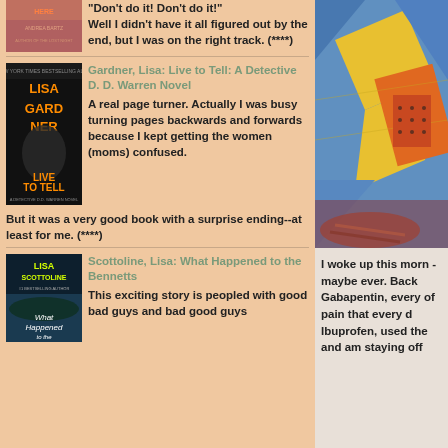[Figure (photo): Book cover for Andrea Bartz novel (partially visible at top)]
"Don't do it! Don't do it!" Well I didn't have it all figured out by the end, but I was on the right track. (****)
[Figure (photo): Book cover: Lisa Gardner - Live to Tell: A Detective D. D. Warren Novel]
Gardner, Lisa: Live to Tell: A Detective D. D. Warren Novel
A real page turner. Actually I was busy turning pages backwards and forwards because I kept getting the women (moms) confused. But it was a very good book with a surprise ending--at least for me. (****)
[Figure (photo): Book cover: Lisa Scottoline - What Happened to the Bennetts]
Scottoline, Lisa: What Happened to the Bennetts
This exciting story is peopled with good bad guys and bad good guys
[Figure (photo): Quilt photo showing colorful geometric pattern with yellow, blue, orange shapes]
I woke up this morn -maybe ever. Back Gabapentin, every of pain that every d Ibuprofen, used the and am staying off